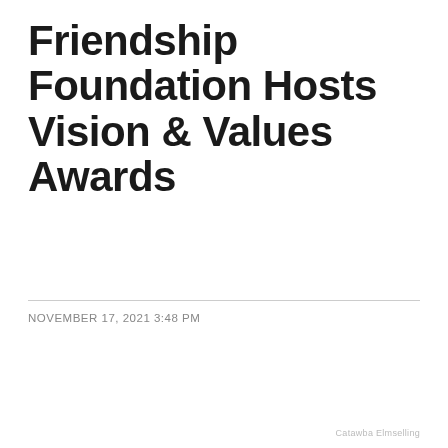Friendship Foundation Hosts Vision & Values Awards
NOVEMBER 17, 2021 3:48 PM
Catawba Elmselling